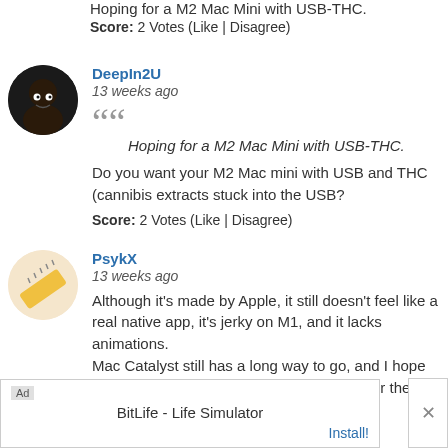Hoping for a M2 Mac Mini with USB-THC.
Score: 2 Votes (Like | Disagree)
DeepIn2U
13 weeks ago
Hoping for a M2 Mac Mini with USB-THC.
Do you want your M2 Mac mini with USB and THC (cannibis extracts stuck into the USB?
Score: 2 Votes (Like | Disagree)
PsykX
13 weeks ago
Although it's made by Apple, it still doesn't feel like a real native app, it's jerky on M1, and it lacks animations. Mac Catalyst still has a long way to go, and I hope this app isn't a preview of what's to come for the next year.
Score: 1 Votes (Like | Disagree)